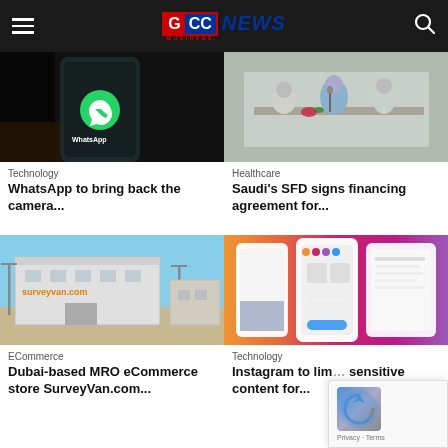GCC Business News
[Figure (photo): Hand holding a phone with WhatsApp logo on dark background]
Technology
WhatsApp to bring back the camera...
[Figure (photo): People in a meeting room, healthcare context]
Healthcare
Saudi's SFD signs financing agreement for...
[Figure (photo): Exterior of MRO / SurveyVAN.com building in Dubai]
ECommerce
Dubai-based MRO eCommerce store SurveyVan.com...
[Figure (photo): Instagram app screenshots showing sensitive content controls, on colorful gradient background]
Technology
Instagram to limit sensitive content for...